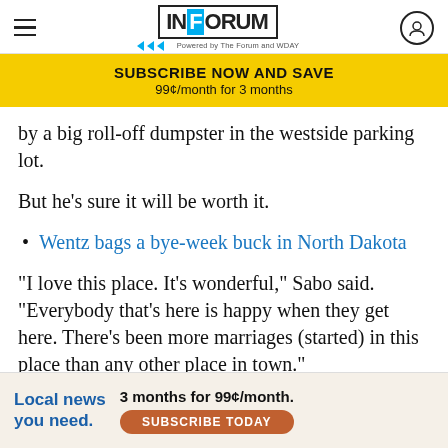INFORUM
SUBSCRIBE NOW AND SAVE
99¢/month for 3 months
by a big roll-off dumpster in the westside parking lot.
But he's sure it will be worth it.
Wentz bags a bye-week buck in North Dakota
"I love this place. It's wonderful," Sabo said. "Everybody that's here is happy when they get here. There's been more marriages (started) in this place than any other place in town."
To rebuild the Bison Turf - complete with a 40-foot by 70
Local news you need.   3 months for 99¢/month.   SUBSCRIBE TODAY
a second unit bar and bathrooms, new turf